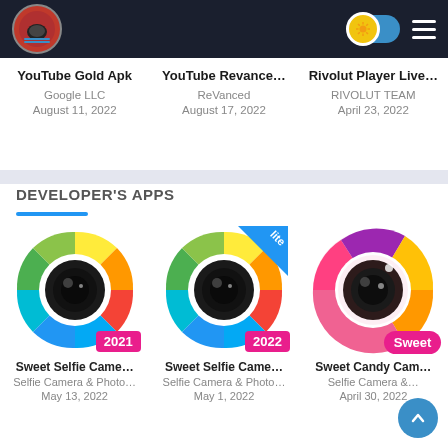[Figure (screenshot): Website header bar with logo, sun toggle, and hamburger menu on dark background]
YouTube Gold Apk – YouTube Revance… – Rivolut Player Live…
Google LLC | ReVanced | RIVOLUT TEAM
August 11, 2022 | August 17, 2022 | April 23, 2022
DEVELOPER'S APPS
[Figure (illustration): Sweet Selfie Camera app icon with rainbow camera ring and 2021 badge]
Sweet Selfie Came…
Selfie Camera & Photo…
May 13, 2022
[Figure (illustration): Sweet Selfie Camera Lite app icon with rainbow camera ring, lite badge and 2022 badge]
Sweet Selfie Came…
Selfie Camera & Photo…
May 1, 2022
[Figure (illustration): Sweet Candy Camera app icon with colorful spiral camera ring and Sweet badge]
Sweet Candy Cam…
Selfie Camera &…
April 30, 2022